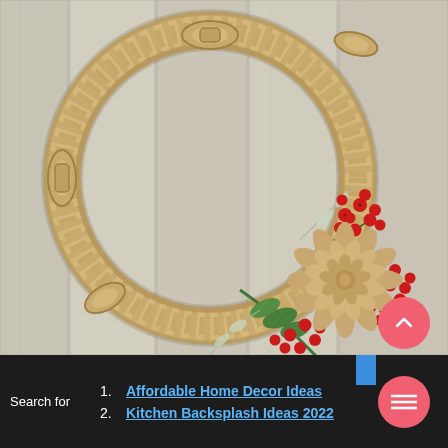[Figure (photo): A decorative rope wreath hung on white wooden plank wall. The wreath is made of natural jute/sisal rope with decorative knots. It features artificial red berries, green pine sprigs, silver/frosted foliage, and a tan/gold dahlia flower accent on the lower right side.]
Search for
1. Affordable Home Decor Ideas
2. Kitchen Backsplash Ideas 2022